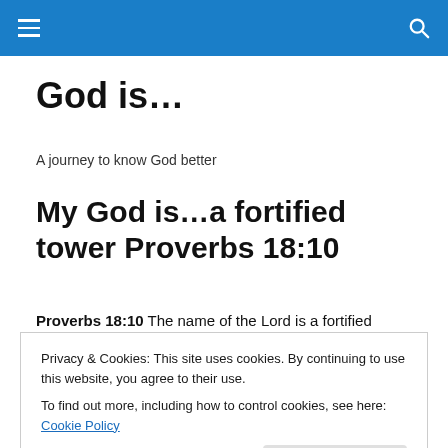God is...
God is...
A journey to know God better
My God is…a fortified tower Proverbs 18:10
Proverbs 18:10 The name of the Lord is a fortified tower;
Privacy & Cookies: This site uses cookies. By continuing to use this website, you agree to their use.
To find out more, including how to control cookies, see here: Cookie Policy
Close and accept
[Figure (photo): Partial view of a fortified tower or ancient stone building against a blue sky]